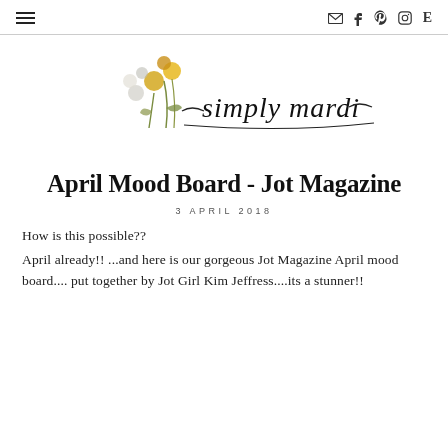simply mardi blog header with navigation icons
[Figure (logo): Simply Mardi logo with watercolor floral illustration and script text 'simply mardi']
April Mood Board - Jot Magazine
3 APRIL 2018
How is this possible??
April already!! ...and here is our gorgeous Jot Magazine April mood board.... put together by Jot Girl Kim Jeffress....its a stunner!!